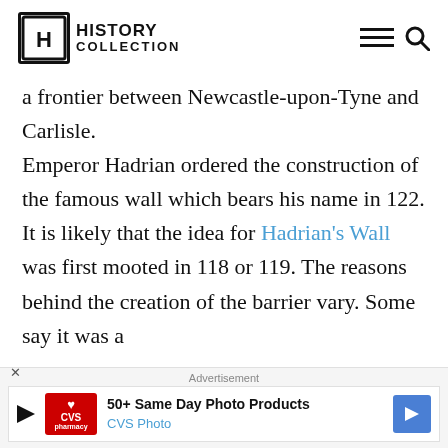HISTORY COLLECTION
a frontier between Newcastle-upon-Tyne and Carlisle.
Emperor Hadrian ordered the construction of the famous wall which bears his name in 122. It is likely that the idea for Hadrian's Wall was first mooted in 118 or 119. The reasons behind the creation of the barrier vary. Some say it was a
Advertisement
[Figure (other): CVS Photo advertisement banner: 50+ Same Day Photo Products, CVS Photo]